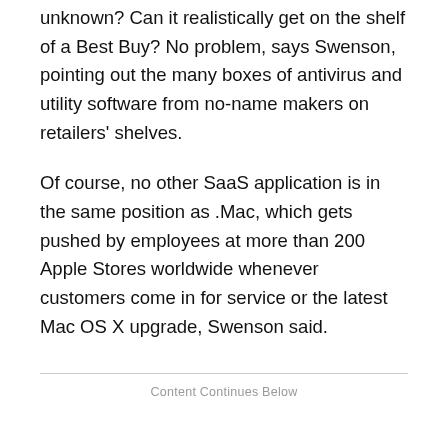unknown? Can it realistically get on the shelf of a Best Buy? No problem, says Swenson, pointing out the many boxes of antivirus and utility software from no-name makers on retailers' shelves.
Of course, no other SaaS application is in the same position as .Mac, which gets pushed by employees at more than 200 Apple Stores worldwide whenever customers come in for service or the latest Mac OS X upgrade, Swenson said.
Content Continues Below